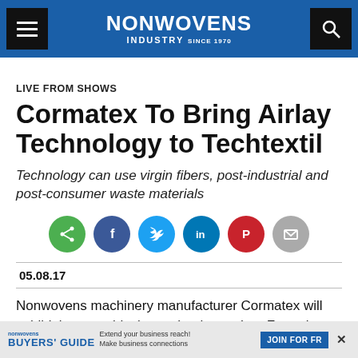NONWOVENS INDUSTRY
LIVE FROM SHOWS
Cormatex To Bring Airlay Technology to Techtextil
Technology can use virgin fibers, post-industrial and post-consumer waste materials
[Figure (infographic): Social sharing buttons: share (green), Facebook (dark blue), Twitter (light blue), LinkedIn (blue), Pinterest (red), email (grey)]
05.08.17
Nonwovens machinery manufacturer Cormatex will exhibit its new airlaying technology – Lap Formair – at Techtextil
[Figure (infographic): Nonwovens Buyers' Guide advertisement banner: Extend your business reach! Make business connections. JOIN FOR FREE button.]